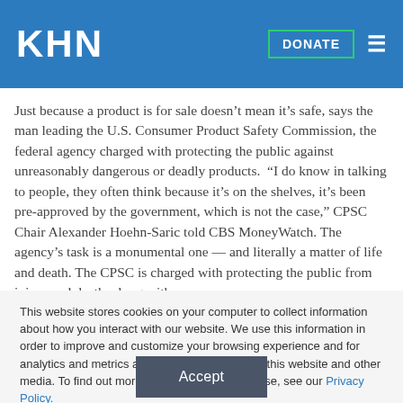KHN  DONATE
Just because a product is for sale doesn't mean it's safe, says the man leading the U.S. Consumer Product Safety Commission, the federal agency charged with protecting the public against unreasonably dangerous or deadly products.  "I do know in talking to people, they often think because it's on the shelves, it's been pre-approved by the government, which is not the case," CPSC Chair Alexander Hoehn-Saric told CBS MoneyWatch. The agency's task is a monumental one — and literally a matter of life and death. The CPSC is charged with protecting the public from injury and death, along with
This website stores cookies on your computer to collect information about how you interact with our website. We use this information in order to improve and customize your browsing experience and for analytics and metrics about our visitors both on this website and other media. To find out more about the cookies we use, see our Privacy Policy.
Accept